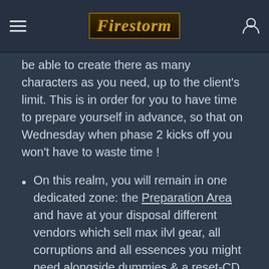Firestorm (logo)
who can [...] will be granted access [...] realm. You will be able to create there as many characters as you need, up to the client's limit. This is in order for you to have time to prepare yourself in advance, so that on Wednesday when phase 2 kicks off you won't have to waste time !
On this realm, you will remain in one dedicated zone: the Preparation Area and have at your disposal different vendors which sell max ilvl gear, all corruptions and all essences you might need alongside dummies & a reset-CD NPC (to test your damage / heal), a stable and all of the BFA NPCs needed to upgrade your cloak, heart of Azeroth, change traits, remove corruptions etc. That way, you can trully get your ideal build for every specialization of every classes you play